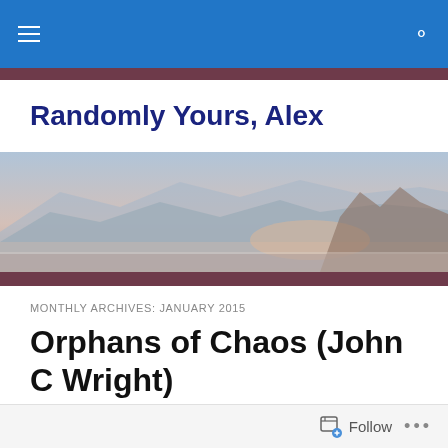Navigation bar with menu and search icons
Randomly Yours, Alex
[Figure (photo): Panoramic landscape photo of a snowy/foggy cityscape with mountains in the background, in muted blue and pink tones]
MONTHLY ARCHIVES: JANUARY 2015
Orphans of Chaos (John C Wright)
Yeh nah.
Follow ...